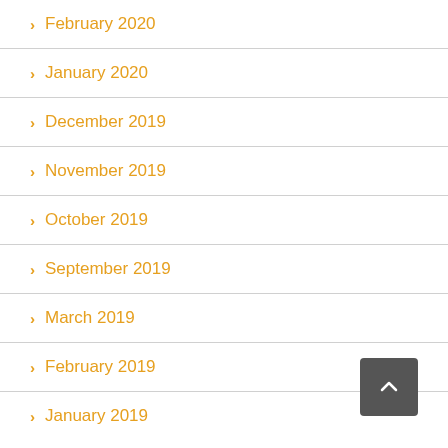> February 2020
> January 2020
> December 2019
> November 2019
> October 2019
> September 2019
> March 2019
> February 2019
> January 2019